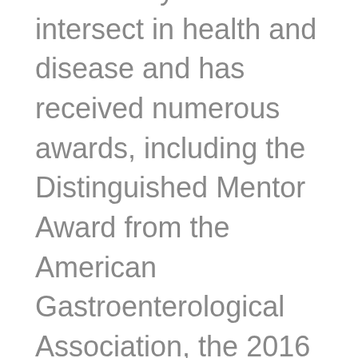nervous system intersect in health and disease and has received numerous awards, including the Distinguished Mentor Award from the American Gastroenterological Association, the 2016 David McLean award from the American Psychosomatic Society, and the 2017 Ismar Boas medal from the German Society for Gastroenterology and Metabolic Disease.